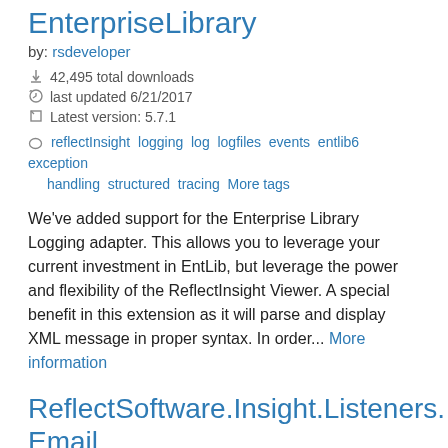EnterpriseLibrary
by: rsdeveloper
42,495 total downloads
last updated 6/21/2017
Latest version: 5.7.1
reflectInsight logging log logfiles events entlib6 exception handling structured tracing More tags
We've added support for the Enterprise Library Logging adapter. This allows you to leverage your current investment in EntLib, but leverage the power and flexibility of the ReflectInsight Viewer. A special benefit in this extension as it will parse and display XML message in proper syntax. In order... More information
ReflectSoftware.Insight.Listeners.Email
by: rsdeveloper
21,930 total downloads
last updated 1/29/2018
Latest version: 5.7.2